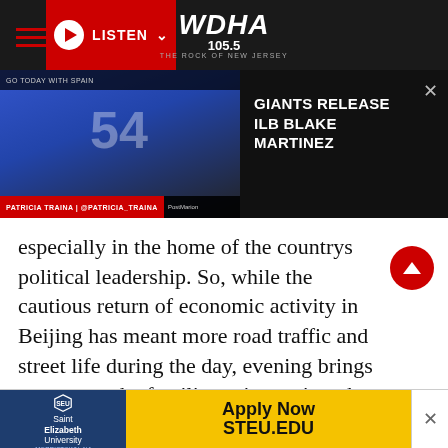WDHA 105.5 THE ROCK OF NEW JERSEY — LISTEN
[Figure (screenshot): News banner showing NY Giants player in blue uniform and helmet, with text overlay: GIANTS RELEASE ILB BLAKE MARTINEZ. Credit: PATRICIA TRAINA | @PATRICIA_TRAINA]
especially in the home of the countrys political leadership. So, while the cautious return of economic activity in Beijing has meant more road traffic and street life during the day, evening brings a return to the familiar quiet anxiety that has defined Chinas efforts to contain the virus. After sunset, a majority of people avoid mingling or limit their
[Figure (screenshot): Advertisement banner for Saint Elizabeth University with text: Apply Now STEU.EDU on yellow background]